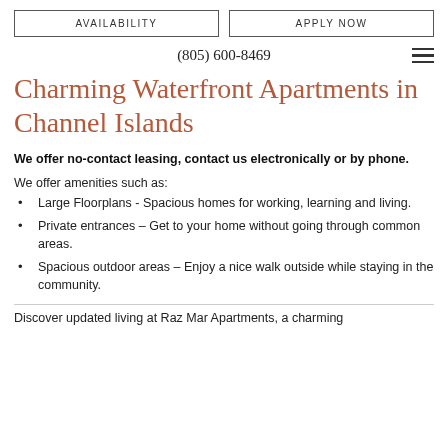AVAILABILITY | APPLY NOW
(805) 600-8469
Charming Waterfront Apartments in Channel Islands
We offer no-contact leasing, contact us electronically or by phone.
We offer amenities such as:
Large Floorplans - Spacious homes for working, learning and living.
Private entrances – Get to your home without going through common areas.
Spacious outdoor areas – Enjoy a nice walk outside while staying in the community.
Discover updated living at Raz Mar Apartments, a charming